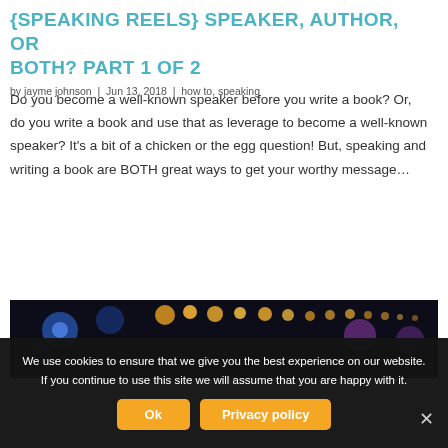{SPEAKING REELS} SPEAKER, AUTHOR, OR BOTH? PART 1 OF 2
by jayme johnson | Jun 13, 2018 | how to, speaking
Do you become a well-known speaker before you write a book? Or, do you write a book and use that as leverage to become a well-known speaker? It’s a bit of a chicken or the egg question! But, speaking and writing a book are BOTH great ways to get your worthy message…
[Figure (photo): Dark stage background with colorful bokeh lights in blue, orange, and yellow]
We use cookies to ensure that we give you the best experience on our website. If you continue to use this site we will assume that you are happy with it.
Ok | Privacy policy